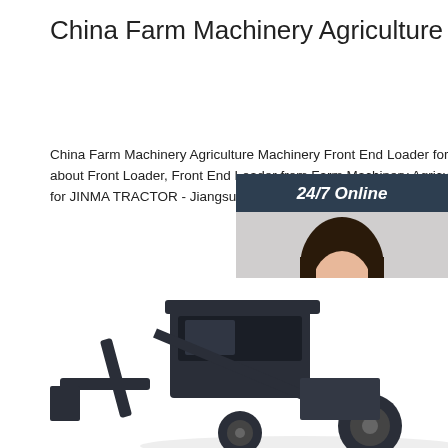China Farm Machinery Agriculture Machinery Front End ...
China Farm Machinery Agriculture Machinery Front End Loader for JINMA TRACTOR, Find details about Front Loader, Front End Loader from Farm Machinery Agriculture Machinery Front End Loader for JINMA TRACTOR - Jiangsu Yueda Intelligent Agricultural Equipment Co., Ltd.
[Figure (infographic): Customer service chat widget with '24/7 Online' header, photo of a woman with headset, 'Click here for free chat!' text, and an orange QUOTATION button]
[Figure (photo): Partial view of a farm machinery front end loader/tractor at the bottom of the page]
Get Price